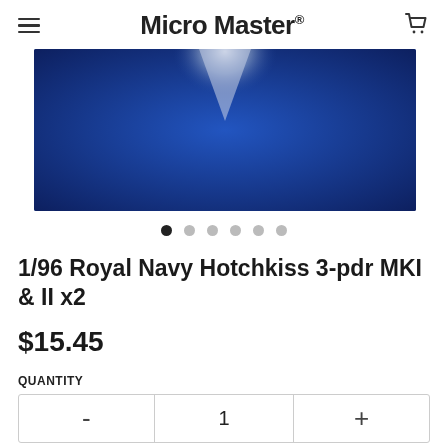Micro Master®
[Figure (photo): Close-up photo of a model navy cannon/gun on a blue background, showing the barrel tip and part of the mount.]
1/96 Royal Navy Hotchkiss 3-pdr MKI & II x2
$15.45
QUANTITY
| - | 1 | + |
| --- | --- | --- |